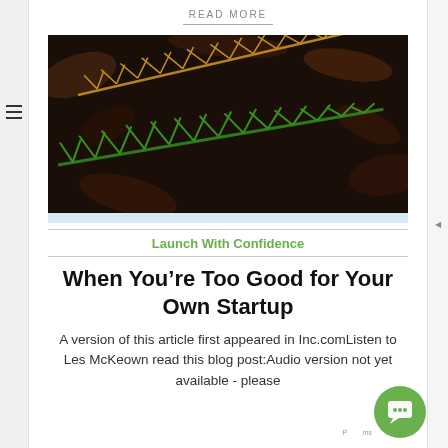READ MORE
[Figure (photo): Close-up photograph of fern fronds on a dark background of dried leaves. One fern frond is bright green and another is golden/brown.]
Launch With Confidence
When You’re Too Good for Your Own Startup
A version of this article first appeared in Inc.comListen to Les McKeown read this blog post:Audio version not yet available - please